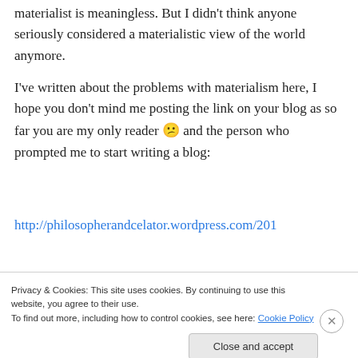materialist is meaningless. But I didn't think anyone seriously considered a materialistic view of the world anymore.
I've written about the problems with materialism here, I hope you don't mind me posting the link on your blog as so far you are my only reader 😕 and the person who prompted me to start writing a blog:
http://philosopherandcelator.wordpress.com/201
Privacy & Cookies: This site uses cookies. By continuing to use this website, you agree to their use.
To find out more, including how to control cookies, see here: Cookie Policy
Close and accept